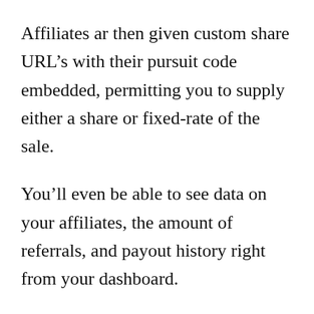Affiliates ar then given custom share URL’s with their pursuit code embedded, permitting you to supply either a share or fixed-rate of the sale.
You’ll even be able to see data on your affiliates, the amount of referrals, and payout history right from your dashboard.
If you weren’t already sold  (they got Maine a jiffy back), you furthermore may get access to